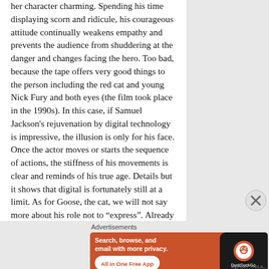her character charming. Spending his time displaying scorn and ridicule, his courageous attitude continually weakens empathy and prevents the audience from shuddering at the danger and changes facing the hero. Too bad, because the tape offers very good things to the person including the red cat and young Nick Fury and both eyes (the film took place in the 1990s). In this case, if Samuel Jackson's rejuvenation by digital technology is impressive, the illusion is only for his face. Once the actor moves or starts the sequence of actions, the stiffness of his movements is clear and reminds of his true age. Details but it shows that digital is fortunately still at a limit. As for Goose, the cat, we will not say more about his role not to "express". Already the
Advertisements
[Figure (illustration): DuckDuckGo advertisement banner with orange background showing 'Search, browse, and email with more privacy. All in One Free App' text with a phone mockup displaying the DuckDuckGo logo]